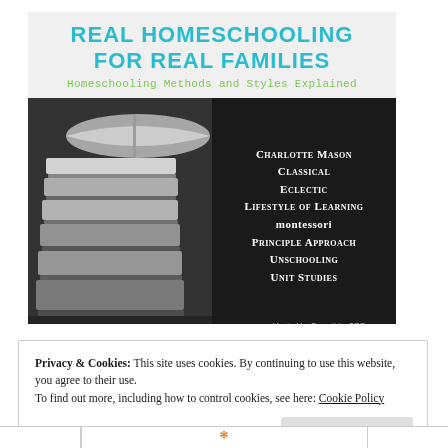[Figure (infographic): Promotional banner for 'Real Homeschooling for Real Families' showing a header with title and subtitle over a dark background with stacked books image. Lists homeschooling methods: Charlotte Mason, Classical, Eclectic, Lifestyle of Learning, Montessori, Principle Approach, Unschooling, Unit Studies. Hosted by Something2Offer.com.]
Privacy & Cookies: This site uses cookies. By continuing to use this website, you agree to their use.
To find out more, including how to control cookies, see here: Cookie Policy
Close and accept